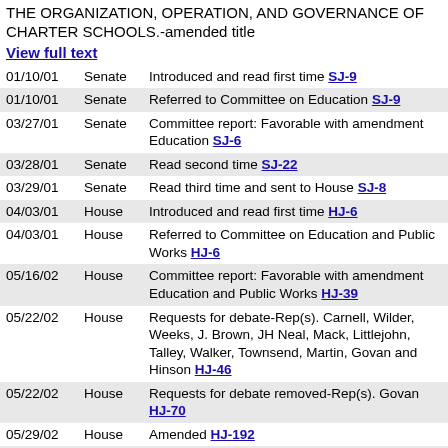THE ORGANIZATION, OPERATION, AND GOVERNANCE OF CHARTER SCHOOLS.-amended title
View full text
| Date | Chamber | Action |
| --- | --- | --- |
| 01/10/01 | Senate | Introduced and read first time SJ-9 |
| 01/10/01 | Senate | Referred to Committee on Education SJ-9 |
| 03/27/01 | Senate | Committee report: Favorable with amendment Education SJ-6 |
| 03/28/01 | Senate | Read second time SJ-22 |
| 03/29/01 | Senate | Read third time and sent to House SJ-8 |
| 04/03/01 | House | Introduced and read first time HJ-6 |
| 04/03/01 | House | Referred to Committee on Education and Public Works HJ-6 |
| 05/16/02 | House | Committee report: Favorable with amendment Education and Public Works HJ-39 |
| 05/22/02 | House | Requests for debate-Rep(s). Carnell, Wilder, Weeks, J. Brown, JH Neal, Mack, Littlejohn, Talley, Walker, Townsend, Martin, Govan and Hinson HJ-46 |
| 05/22/02 | House | Requests for debate removed-Rep(s). Govan HJ-70 |
| 05/29/02 | House | Amended HJ-192 |
| 05/29/02 | House | Debate interrupted HJ-212 |